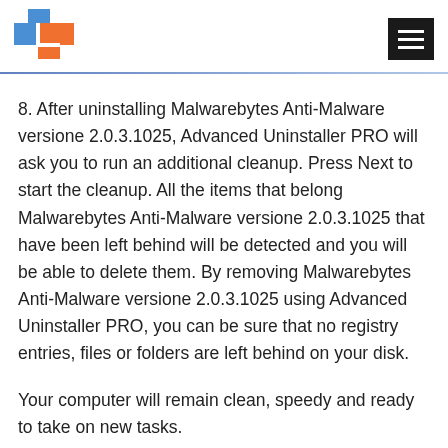[Logo: Advanced Uninstaller PRO] [Hamburger menu button]
8. After uninstalling Malwarebytes Anti-Malware versione 2.0.3.1025, Advanced Uninstaller PRO will ask you to run an additional cleanup. Press Next to start the cleanup. All the items that belong Malwarebytes Anti-Malware versione 2.0.3.1025 that have been left behind will be detected and you will be able to delete them. By removing Malwarebytes Anti-Malware versione 2.0.3.1025 using Advanced Uninstaller PRO, you can be sure that no registry entries, files or folders are left behind on your disk.
Your computer will remain clean, speedy and ready to take on new tasks.